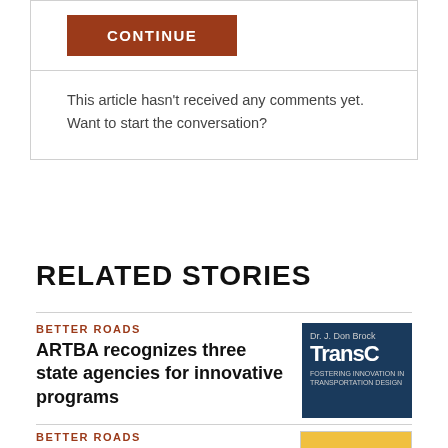CONTINUE
This article hasn't received any comments yet. Want to start the conversation?
RELATED STORIES
BETTER ROADS
ARTBA recognizes three state agencies for innovative programs
[Figure (photo): Book cover showing 'Dr. J. Don Brock TransC' with subtitle 'FOSTERING INNOVATION IN TRANSPORTATION DESIGN']
BETTER ROADS